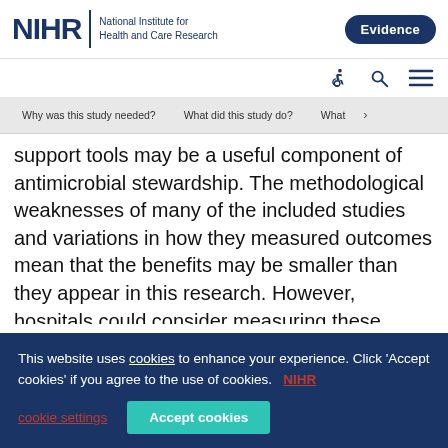NIHR | National Institute for Health and Care Research | Evidence
support tools may be a useful component of antimicrobial stewardship. The methodological weaknesses of many of the included studies and variations in how they measured outcomes mean that the benefits may be smaller than they appear in this research. However, hospitals could consider measuring these outcomes to improve antibiotic
This website uses cookies to enhance your experience. Click 'Accept cookies' if you agree to the use of cookies. NIHR cookie settings | Accept cookies